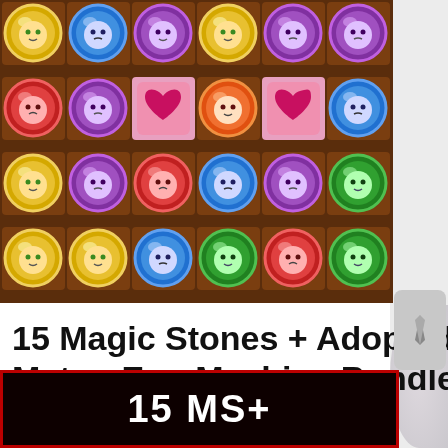[Figure (screenshot): Screenshot of a puzzle game featuring circular character tokens in various colors (yellow, purple, red, blue, green) arranged in a grid. Some squares contain heart symbols. The game appears to be a match-3 style mobile game.]
15 Magic Stones + Adopted Daughter, Sakura Matou Egg Machine Bundle
[Duration]: 6/14(Mon), 0:00 - 6/27(Sun), 23:59(UTC-8)
[Figure (screenshot): Bottom banner with dark red border showing '15 MS+' text in white on black background, advertising a bundle deal.]